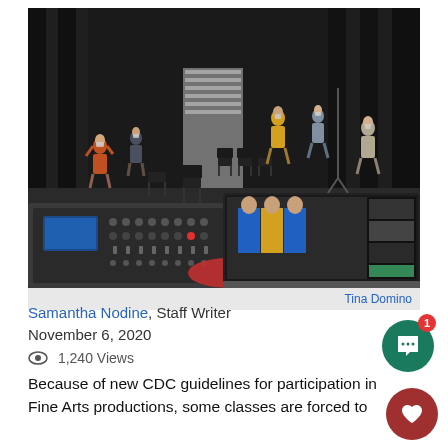[Figure (photo): Indoor black-box theater rehearsal space with students wearing masks scattered around the room, chairs placed on the dark floor. In the foreground, a mixing board console and a laptop screen showing a Zoom/video feed of the same rehearsal.]
Tina Domino
Samantha Nodine, Staff Writer
November 6, 2020
1,240 Views
Because of new CDC guidelines for participation in Fine Arts productions, some classes are forced to